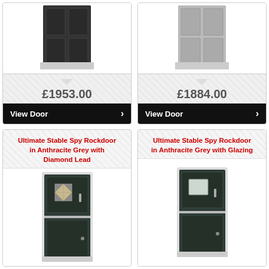[Figure (photo): Dark grey/anthracite composite door product image, top portion cut off]
£1953.00
View Door
[Figure (photo): Light grey composite door product image, top portion cut off]
£1884.00
View Door
Ultimate Stable Spy Rockdoor in Anthracite Grey with Diamond Lead
[Figure (photo): Anthracite grey stable spy rockdoor with diamond lead glazing panel, dark composite door with small diamond-patterned window in upper half]
Ultimate Stable Spy Rockdoor in Anthracite Grey with Glazing
[Figure (photo): Anthracite grey stable spy rockdoor with plain glazing panel, dark composite door with small frosted window in upper half]